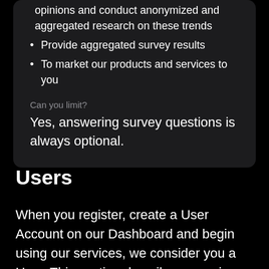Gain insights into financial trends and opinions and conduct anonymized and aggregated research on these trends
Provide aggregated survey results
To market our products and services to you
Can you limit?
Yes, answering survey questions is always optional.
Users
When you register, create a User Account on our Dashboard and begin using our services, we consider you a User. This section describes our privacy